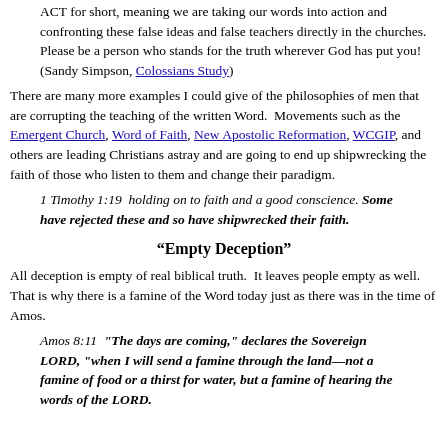ACT for short, meaning we are taking our words into action and confronting these false ideas and false teachers directly in the churches. Please be a person who stands for the truth wherever God has put you! (Sandy Simpson, Colossians Study)
There are many more examples I could give of the philosophies of men that are corrupting the teaching of the written Word. Movements such as the Emergent Church, Word of Faith, New Apostolic Reformation, WCGIP, and others are leading Christians astray and are going to end up shipwrecking the faith of those who listen to them and change their paradigm.
1 Timothy 1:19 holding on to faith and a good conscience. Some have rejected these and so have shipwrecked their faith.
“Empty Deception”
All deception is empty of real biblical truth. It leaves people empty as well. That is why there is a famine of the Word today just as there was in the time of Amos.
Amos 8:11 "The days are coming," declares the Sovereign LORD, "when I will send a famine through the land—not a famine of food or a thirst for water, but a famine of hearing the words of the LORD.